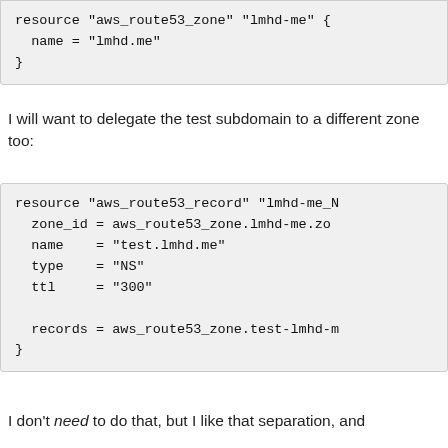resource "aws_route53_zone" "lmhd-me" {
  name = "lmhd.me"
}
I will want to delegate the test subdomain to a different zone too:
resource "aws_route53_record" "lmhd-me_N
  zone_id = aws_route53_zone.lmhd-me.zo
  name    = "test.lmhd.me"
  type    = "NS"
  ttl     = "300"

  records = aws_route53_zone.test-lmhd-m
}
I don't need to do that, but I like that separation, and